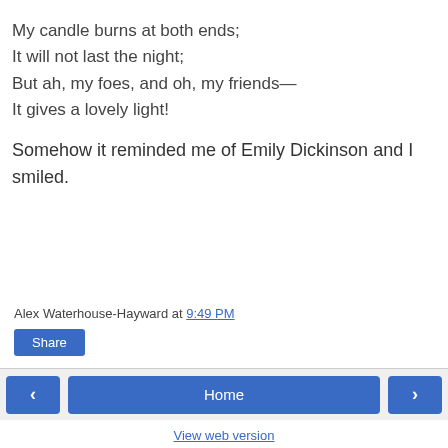My candle burns at both ends;
It will not last the night;
But ah, my foes, and oh, my friends—
It gives a lovely light!
Somehow it reminded me of Emily Dickinson and I smiled.
Alex Waterhouse-Hayward at 9:49 PM
Share
‹   Home   ›
View web version